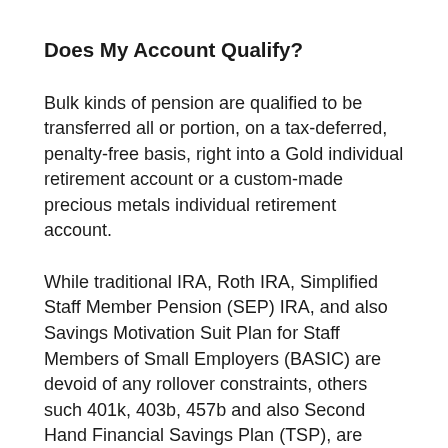Does My Account Qualify?
Bulk kinds of pension are qualified to be transferred all or portion, on a tax-deferred, penalty-free basis, right into a Gold individual retirement account or a custom-made precious metals individual retirement account.
While traditional IRA, Roth IRA, Simplified Staff Member Pension (SEP) IRA, and also Savings Motivation Suit Plan for Staff Members of Small Employers (BASIC) are devoid of any rollover constraints, others such 401k, 403b, 457b and also Second Hand Financial Savings Plan (TSP), are qualified to be moved if the individual is over